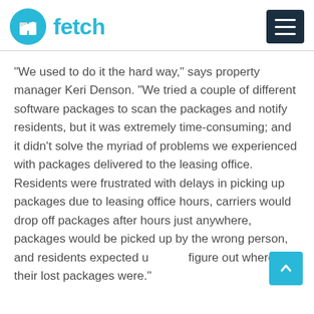[Figure (logo): Fetch logo: teal circle with package/box icon, followed by the word 'fetch' in teal bold text]
“We used to do it the hard way,” says property manager Keri Denson. “We tried a couple of different software packages to scan the packages and notify residents, but it was extremely time-consuming; and it didn’t solve the myriad of problems we experienced with packages delivered to the leasing office. Residents were frustrated with delays in picking up packages due to leasing office hours, carriers would drop off packages after hours just anywhere, packages would be picked up by the wrong person, and residents expected us to figure out where their lost packages were.”